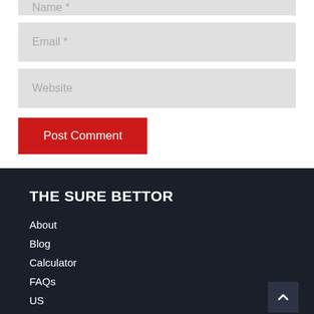Name *
Email *
Website
Post Comment
THE SURE BETTOR
About
Blog
Calculator
FAQs
US